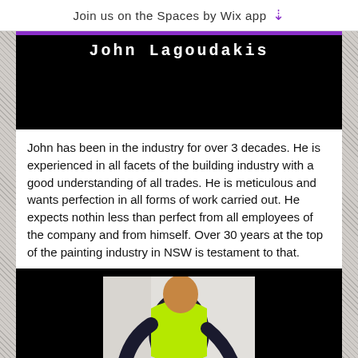Join us on the Spaces by Wix app ↓
[Figure (screenshot): Dark video frame with white monospace text 'John Lagoudakis' at top, rest is black]
John has been in the industry for over 3 decades. He is experienced in all facets of the building industry with a good understanding of all trades. He is meticulous and wants perfection in all forms of work carried out. He expects nothin less than perfect from all employees of the company and from himself. Over 30 years at the top of the painting industry in NSW is testament to that.
[Figure (photo): Person in yellow hi-vis vest and white shorts using a paint roller on a wall. Below the photo is a dark bar with white text reading 'Directo' (partially visible)]